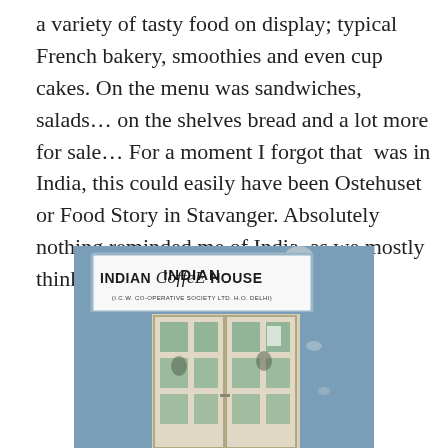a variety of tasty food on display; typical French bakery, smoothies and even cup cakes. On the menu was sandwiches, salads… on the shelves bread and a lot more for sale… For a moment I forgot that  was in India, this could easily have been Ostehuset or Food Story in Stavanger. Absolutely nothing reminded me of India, as we mostly think of India.
[Figure (photo): Photograph of the entrance to 'Indian Coffee House' (I.C.W. Co-operative Society Ltd. H.O. Delhi), showing a blue-painted wall with a white sign board above white double doors with glass panels.]